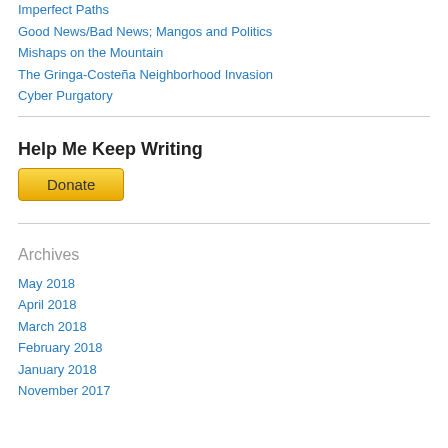Imperfect Paths
Good News/Bad News; Mangos and Politics
Mishaps on the Mountain
The Gringa-Costeña Neighborhood Invasion
Cyber Purgatory
Help Me Keep Writing
[Figure (other): PayPal Donate button - golden yellow rounded rectangle button with text 'Donate']
Archives
May 2018
April 2018
March 2018
February 2018
January 2018
November 2017